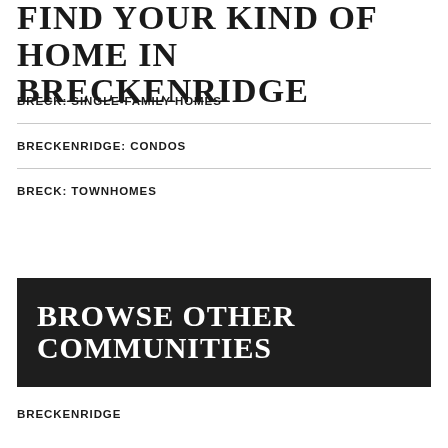FIND YOUR KIND OF HOME IN BRECKENRIDGE
BRECK: SINGLE-FAMILY HOMES
BRECKENRIDGE: CONDOS
BRECK: TOWNHOMES
BROWSE OTHER COMMUNITIES
BRECKENRIDGE